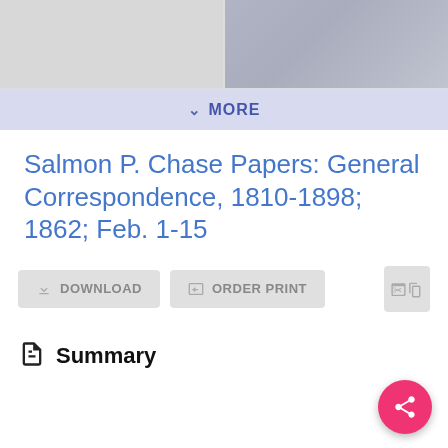[Figure (photo): Two grayscale document/photo thumbnails side by side at the top of the page]
MORE
Salmon P. Chase Papers: General Correspondence, 1810-1898; 1862; Feb. 1-15
DOWNLOAD   ORDER PRINT
Summary